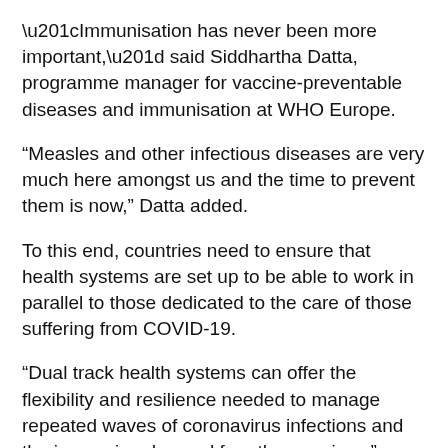“Immunisation has never been more important,” said Siddhartha Datta, programme manager for vaccine-preventable diseases and immunisation at WHO Europe.
“Measles and other infectious diseases are very much here amongst us and the time to prevent them is now,” Datta added.
To this end, countries need to ensure that health systems are set up to be able to work in parallel to those dedicated to the care of those suffering from COVID-19.
“Dual track health systems can offer the flexibility and resilience needed to manage repeated waves of coronavirus infections and the increasing demand for other services,” Kluge said.